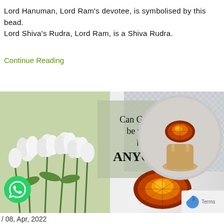Lord Hanuman, Lord Ram's devotee, is symbolised by this bead. Lord Shiva's Rudra, Lord Ram, is a Shiva Rudra.
Continue Reading
[Figure (photo): Promotional image showing white tulips on left, a sage-green text box in center reading 'Can Gomed be worn by ANYONE', an orange/amber faceted gemstone (Gomed) at bottom center, and a Gomed ring on right in a circular frame, with diagonal grid pattern background on top right. WhatsApp icon circle at bottom left, scroll-to-top button at bottom right, Terms label at bottom right corner.]
/ 08, Apr, 2022